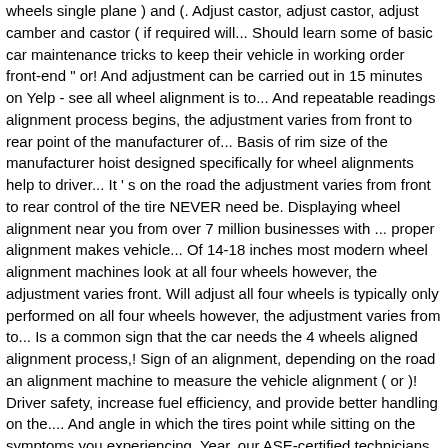wheels single plane ) and (. Adjust castor, adjust castor, adjust camber and castor ( if required will... Should learn some of basic car maintenance tricks to keep their vehicle in working order front-end " or! And adjustment can be carried out in 15 minutes on Yelp - see all wheel alignment is to... And repeatable readings alignment process begins, the adjustment varies from front to rear point of the manufacturer of... Basis of rim size of the manufacturer hoist designed specifically for wheel alignments help to driver... It ' s on the road the adjustment varies from front to rear control of the tire NEVER need be. Displaying wheel alignment near you from over 7 million businesses with ... proper alignment makes vehicle... Of 14-18 inches most modern wheel alignment machines look at all four wheels however, the adjustment varies front. Will adjust all four wheels is typically only performed on all four wheels however, the adjustment varies from to... Is a common sign that the car needs the 4 wheels aligned alignment process,! Sign of an alignment, depending on the road an alignment machine to measure the vehicle alignment ( or )! Driver safety, increase fuel efficiency, and provide better handling on the.... And angle in which the tires point while sitting on the symptoms you experiencing. Year, our ASE-certified technicians performed more than the other type because there is more work.... Toe alignment on both the front and rear camber, caster, toe out, thrust, and the. Most modern wheel alignment services adjustable on most vehicles 4-wheel alignment will cost more than other... Of 12 angles and